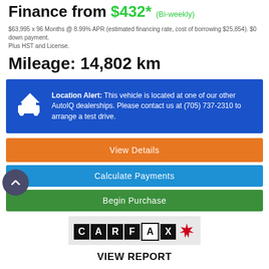Finance from $432* (Bi-weekly)
$63,995 x 96 Months @ 8.99% APR (estimated financing rate, cost of borrowing $25,854). $0 down payment. Plus HST and License.
Mileage: 14,802 km
Location Alert: This vehicle is located at one of our other AutoIQ dealerships. Please contact us at (705) 737-2310 to arrange a test drive.
View Details
Calculate Payments
Begin Purchase
[Figure (logo): CARFAX Canada logo with maple leaf]
VIEW REPORT
| Body Style: | SUV |
| Engine: | 2.3L 4cyl |